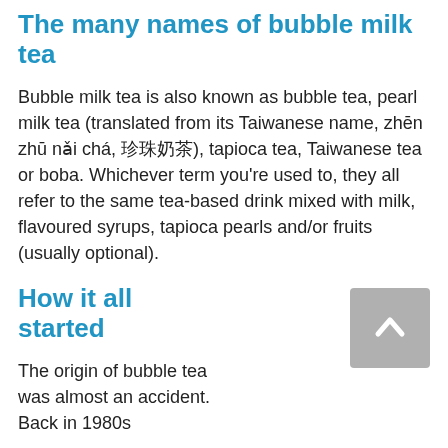The many names of bubble milk tea
Bubble milk tea is also known as bubble tea, pearl milk tea (translated from its Taiwanese name, zhēn zhū nǎi chá, 珍珠奶茶), tapioca tea, Taiwanese tea or boba. Whichever term you're used to, they all refer to the same tea-based drink mixed with milk, flavoured syrups, tapioca pearls and/or fruits (usually optional).
How it all started
The origin of bubble tea was almost an accident. Back in 1980s